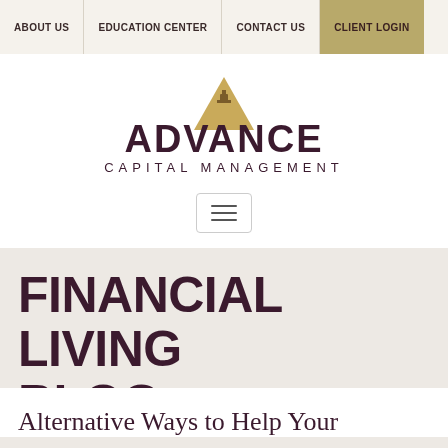ABOUT US | EDUCATION CENTER | CONTACT US | CLIENT LOGIN
[Figure (logo): Advance Capital Management logo — gold triangle with chess piece above dark purple ADVANCE text and CAPITAL MANAGEMENT subtitle]
[Figure (other): Hamburger menu button (three horizontal lines in a rounded rectangle border)]
FINANCIAL LIVING BLOG
Alternative Ways to Help Your